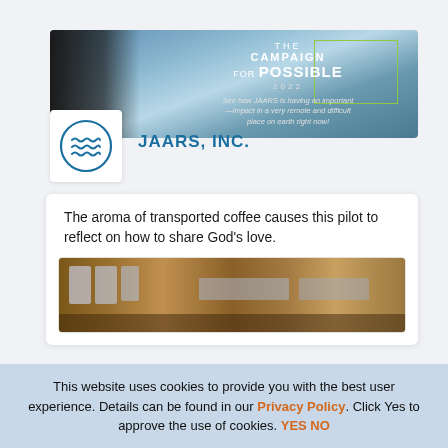[Figure (photo): Banner image showing 'THE CAMPAIGN FOR POSSIBLE 2022' with text overlay on a mountainous aerial view background with a pilot visible on the left side.]
[Figure (logo): JAARS Inc. logo: a circle with wave/water symbols inside, in teal/navy color.]
JAARS, INC.
The aroma of transported coffee causes this pilot to reflect on how to share God's love.
[Figure (photo): Photo of coffee bags and packages on wooden shelving in what appears to be a warehouse or storage area.]
This website uses cookies to provide you with the best user experience. Details can be found in our Privacy Policy. Click Yes to approve the use of cookies. YES NO